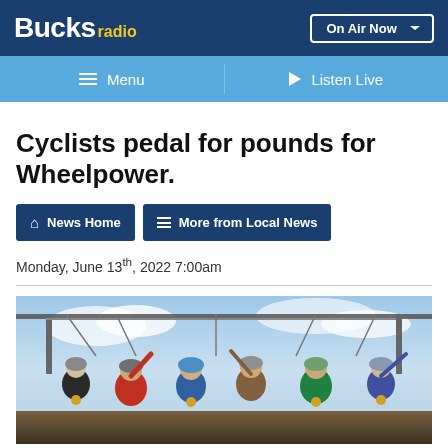Bucks radio | On Air Now
Menu | Listen Live
Cyclists pedal for pounds for Wheelpower.
News Home
More from Local News
Monday, June 13th, 2022 7:00am
[Figure (photo): Group of cyclists wearing helmets and medals, raising hands, standing under a metal arch/gantry structure against a cloudy sky background.]